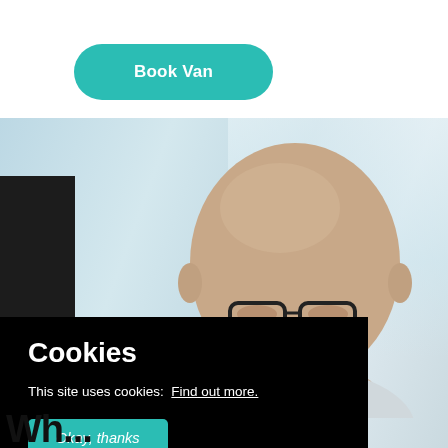[Figure (other): Teal rounded rectangle button with white bold text reading 'Book Van']
[Figure (photo): Photograph of a bald man wearing glasses looking down at a computer screen, with a black cookie consent overlay in the lower-left portion of the image containing the title 'Cookies', text 'This site uses cookies: Find out more.' and a teal 'Okay, thanks' button]
Wh...